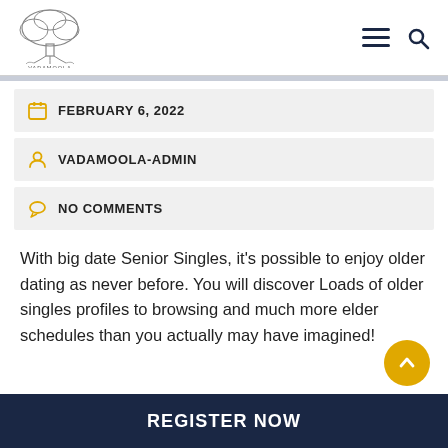[Figure (logo): Vadamoola tree logo in pencil/sketch style]
FEBRUARY 6, 2022
VADAMOOLA-ADMIN
NO COMMENTS
With big date Senior Singles, it's possible to enjoy older dating as never before. You will discover Loads of older singles profiles to browsing and much more elder schedules than you actually may have imagined!
REGISTER NOW